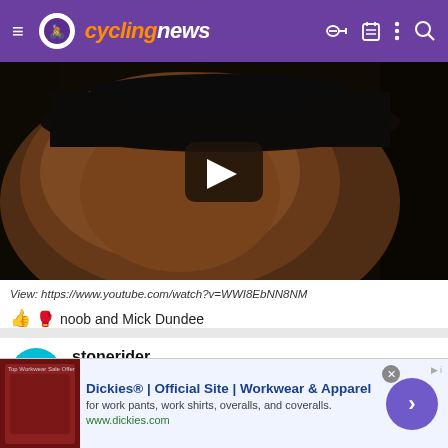cyclingnews
[Figure (screenshot): Video thumbnail showing a man wearing a cowboy hat, with a play button overlay in the center. The video is from YouTube.]
View: https://www.youtube.com/watch?v=WWI8EbNN8NM
👍 🥊 noob and Mick Dundee
stonerider
Nov 14, 2009  224  213  9,430
[Figure (screenshot): Advertisement banner for Dickies. Shows a product image on the left, ad text: 'Dickies® | Official Site | Workwear & Apparel', subtext: 'for work pants, work shirts, overalls, and coveralls.', URL: www.dickies.com, with a purple arrow button on the right.]